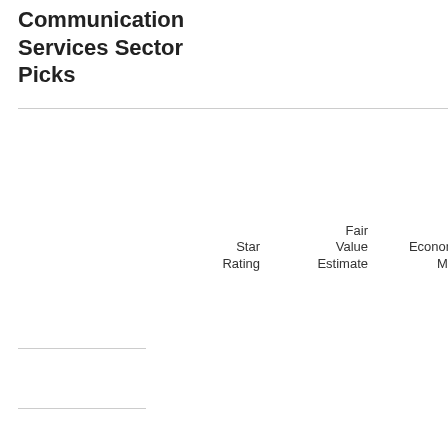Communication Services Sector Picks
|  | Star Rating | Fair Value Estimate | Economic Moat | Fair Value Uncertainty |
| --- | --- | --- | --- | --- |
| Oracle |  | $39.00 | Wide | Medi... |